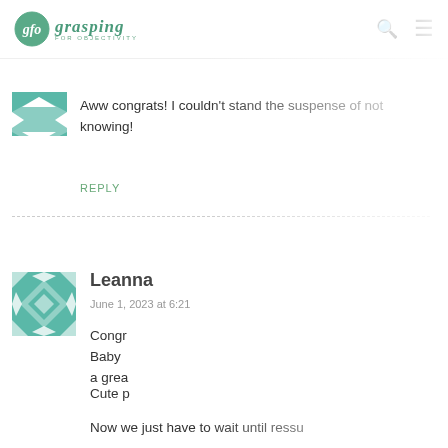glo grasping FOR OBJECTIVITY
[Figure (logo): gfo grasping for objectivity logo with green circle and cursive text]
[Figure (illustration): Small teal/white geometric avatar with wing/arrow pattern]
Aww congrats! I couldn't stand the suspense of not knowing!
REPLY
Leanna
June 1, 2023 at 6:21
[Figure (illustration): Teal and white geometric quilt-pattern avatar for Leanna]
Congr Baby a grea
Cute p
Now we just have to wait until ressu